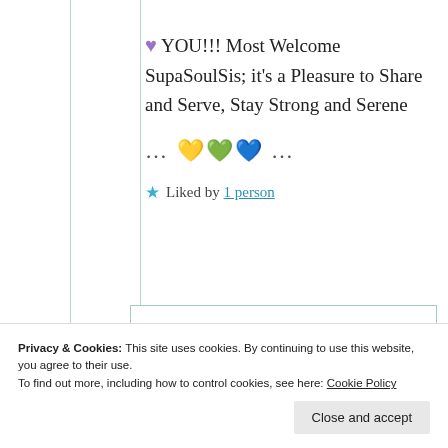💜 YOU!!! Most Welcome SupaSoulSis; it's a Pleasure to Share and Serve, Stay Strong and Serene
… 💛💚💙 …
★ Liked by 1 person
Privacy & Cookies: This site uses cookies. By continuing to use this website, you agree to their use. To find out more, including how to control cookies, see here: Cookie Policy